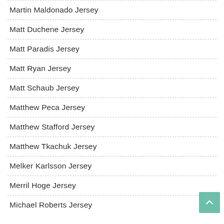Martin Maldonado Jersey
Matt Duchene Jersey
Matt Paradis Jersey
Matt Ryan Jersey
Matt Schaub Jersey
Matthew Peca Jersey
Matthew Stafford Jersey
Matthew Tkachuk Jersey
Melker Karlsson Jersey
Merril Hoge Jersey
Michael Roberts Jersey